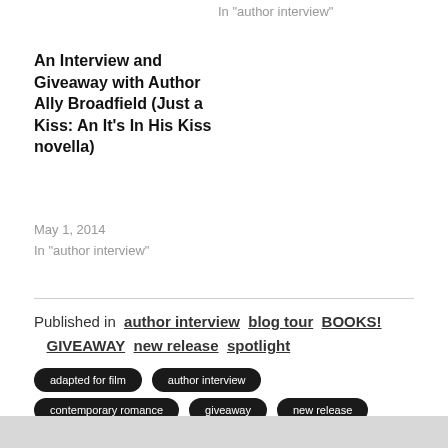In "author interview"
An Interview and Giveaway with Author Ally Broadfield (Just a Kiss: An It's In His Kiss novella)
May 1, 2014
In "author interview"
Published in  author interview  blog tour  BOOKS!  GIVEAWAY  new release  spotlight
adapted for film
author interview
contemporary romance
giveaway
new release
stacey rourke